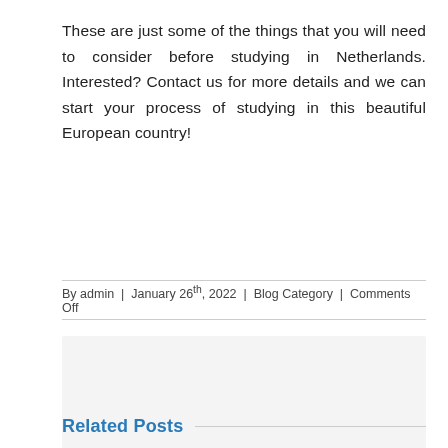These are just some of the things that you will need to consider before studying in Netherlands. Interested? Contact us for more details and we can start your process of studying in this beautiful European country!
By admin | January 26th, 2022 | Blog Category | Comments Off
[Figure (other): Share This Story, Choose Your Platform! section with social media icons: facebook, twitter, linkedin, reddit, tumblr, google+, pinterest, vk, email]
Related Posts